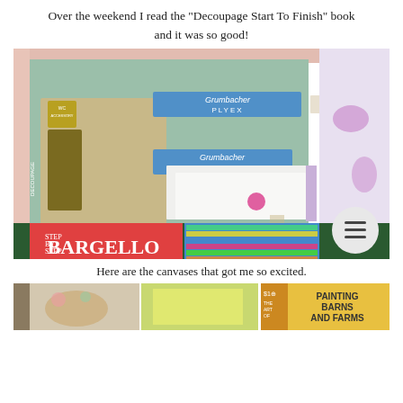Over the weekend I read the "Decoupage Start To Finish" book and it was so good!
[Figure (photo): Photo of art canvases and craft supplies including Grumbacher Plyex canvas boards, a decoupage accessory, and a Bargello needlework book, arranged on a patterned background.]
Here are the canvases that got me so excited.
[Figure (photo): Partial view of craft books including one about painting barns and farms, and other illustrated books, at the bottom of the page.]